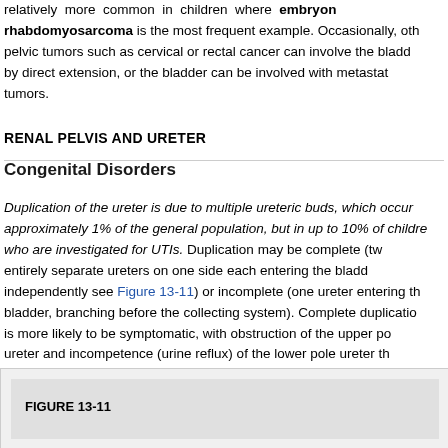relatively more common in children where embryonal rhabdomyosarcoma is the most frequent example. Occasionally, other pelvic tumors such as cervical or rectal cancer can involve the bladder by direct extension, or the bladder can be involved with metastatic tumors.
RENAL PELVIS AND URETER
Congenital Disorders
Duplication of the ureter is due to multiple ureteric buds, which occurs in approximately 1% of the general population, but in up to 10% of children who are investigated for UTIs. Duplication may be complete (two entirely separate ureters on one side each entering the bladder independently see Figure 13-11) or incomplete (one ureter entering the bladder, branching before the collecting system). Complete duplication is more likely to be symptomatic, with obstruction of the upper pole ureter and incompetence (urine reflux) of the lower pole ureter the common presentation.
[Figure (other): Bottom portion of page showing figure area with gray background and figure label FIGURE 13-11]